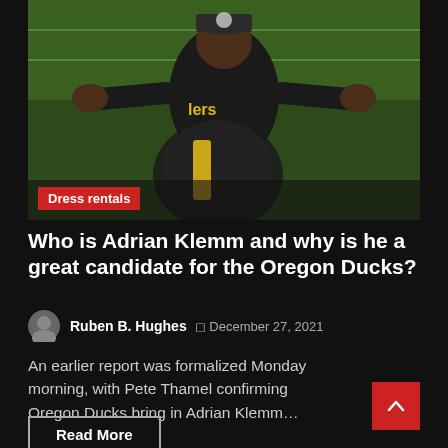[Figure (photo): A man in a Pittsburgh Steelers hoodie and cap with arms outstretched on a football field]
Dress rentals
Who is Adrian Klemm and why is he a great candidate for the Oregon Ducks?
Ruben B. Hughes  · December 27, 2021
An earlier report was formalized Monday morning, with Pete Thamel confirming Oregon Ducks bring in Adrian Klemm…
Read More